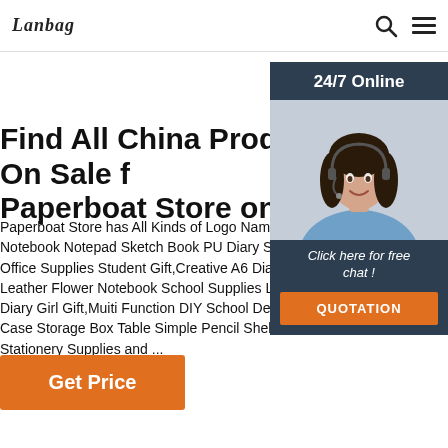Lanbag [logo] | Search icon | Menu icon
Find All China Products On Sale fr Paperboat Store on ...
Paperboat Store has All Kinds of Logo Name Custom Notebook Notepad Sketch Book PU Diary Strap Jour Office Supplies Student Gift,Creative A6 Diary with Lo Leather Flower Notebook School Supplies Lockable P Diary Girl Gift,Muiti Function DIY School Desk Pen Pe Case Storage Box Table Simple Pencil Shelf Holder C Stationery Supplies and ...
[Figure (photo): 24/7 Online customer service representative — woman with headset smiling, with 'Click here for free chat!' text and orange QUOTATION button below, on dark navy background]
Get Price